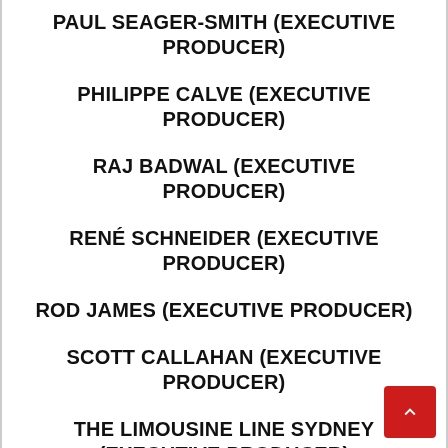PAUL SEAGER-SMITH (EXECUTIVE PRODUCER)
PHILIPPE CALVE (EXECUTIVE PRODUCER)
RAJ BADWAL (EXECUTIVE PRODUCER)
RENÉ SCHNEIDER (EXECUTIVE PRODUCER)
ROD JAMES (EXECUTIVE PRODUCER)
SCOTT CALLAHAN (EXECUTIVE PRODUCER)
THE LIMOUSINE LINE SYDNEY (EXECUTIVE PRODUCER)